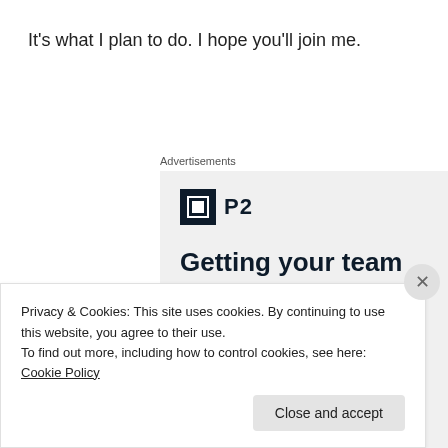It's what I plan to do. I hope you'll join me.
[Figure (other): P2 advertisement banner with logo and headline: 'Getting your team on the same page is easy. And free.' with user avatars at the bottom.]
Privacy & Cookies: This site uses cookies. By continuing to use this website, you agree to their use.
To find out more, including how to control cookies, see here: Cookie Policy